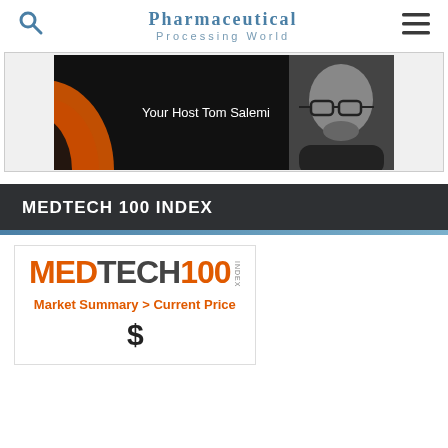Pharmaceutical Processing World
[Figure (photo): Black and white banner image showing 'Your Host Tom Salemi' with orange swirl graphic on left and portrait of man with glasses on right]
MEDTECH 100 INDEX
[Figure (logo): MedTech 100 Index logo with orange MED and 100, dark grey TECH text, and INDEX written vertically]
Market Summary > Current Price
$